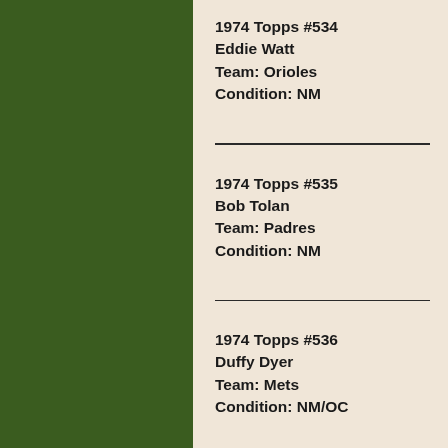1974 Topps #534
Eddie Watt
Team: Orioles
Condition: NM
1974 Topps #535
Bob Tolan
Team: Padres
Condition: NM
1974 Topps #536
Duffy Dyer
Team: Mets
Condition: NM/OC